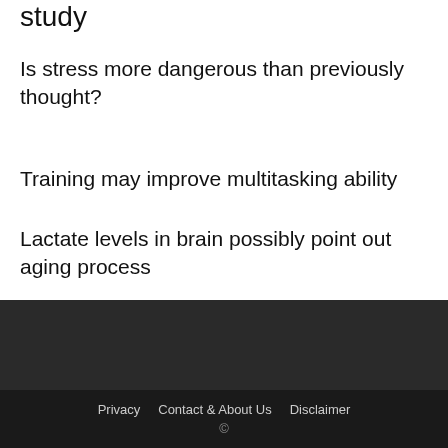study
Is stress more dangerous than previously thought?
Training may improve multitasking ability
Lactate levels in brain possibly point out aging process
Privacy   Contact & About Us   Disclaimer   ©